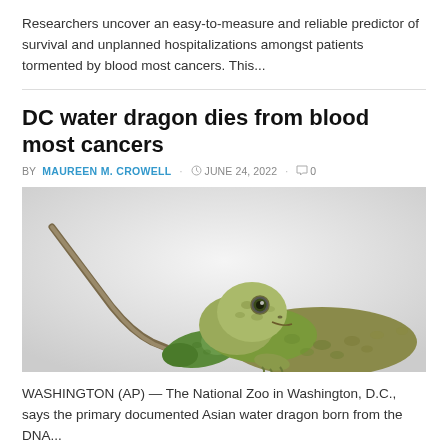Researchers uncover an easy-to-measure and reliable predictor of survival and unplanned hospitalizations amongst patients tormented by blood most cancers. This...
DC water dragon dies from blood most cancers
BY MAUREEN M. CROWELL  © JUNE 24, 2022  0
[Figure (photo): Two Asian water dragons (lizards) against a white background — one smaller green lizard and one larger greenish-brown lizard facing the camera.]
WASHINGTON (AP) — The National Zoo in Washington, D.C., says the primary documented Asian water dragon born from the DNA...